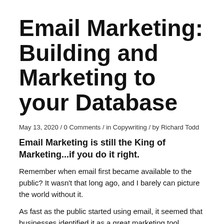Email Marketing: Building and Marketing to your Database
May 13, 2020 / 0 Comments / in Copywriting / by Richard Todd
Email Marketing is still the King of Marketing...if you do it right.
Remember when email first became available to the public? It wasn't that long ago, and I barely can picture the world without it.
As fast as the public started using email, it seemed that businesses identified it as a great marketing tool. Without